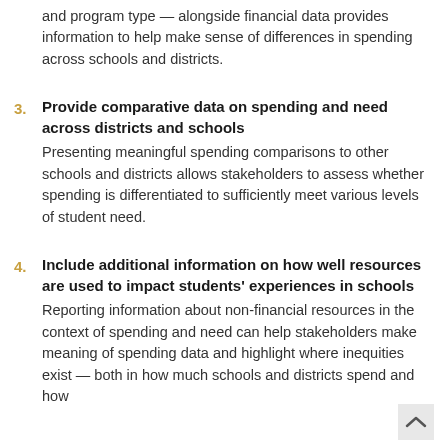and program type — alongside financial data provides information to help make sense of differences in spending across schools and districts.
3. Provide comparative data on spending and need across districts and schools
Presenting meaningful spending comparisons to other schools and districts allows stakeholders to assess whether spending is differentiated to sufficiently meet various levels of student need.
4. Include additional information on how well resources are used to impact students' experiences in schools
Reporting information about non-financial resources in the context of spending and need can help stakeholders make meaning of spending data and highlight where inequities exist — both in how much schools and districts spend and how